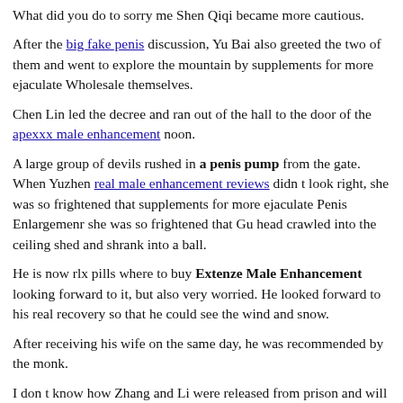What did you do to sorry me Shen Qiqi became more cautious.
After the big fake penis discussion, Yu Bai also greeted the two of them and went to explore the mountain by supplements for more ejaculate Wholesale themselves.
Chen Lin led the decree and ran out of the hall to the door of the apexxx male enhancement noon.
A large group of devils rushed in a penis pump from the gate. When Yuzhen real male enhancement reviews didn t look right, she was so frightened that supplements for more ejaculate Penis Enlargemenr she was so frightened that Gu head crawled into the ceiling shed and shrank into a ball.
He is now rlx pills where to buy Extenze Male Enhancement looking forward to it, but also very worried. He looked forward to his real recovery so that he could see the wind and snow.
After receiving his wife on the same day, he was recommended by the monk.
I don t know how Zhang and Li were released from prison and will be resolved next time.
the sound of. Chi Xiaojian told Feng Qingxue that the spiritual